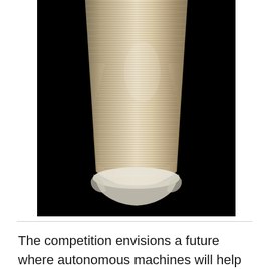[Figure (photo): Close-up photograph of a 3D-printed or filament-wound conical/cylindrical structure with tightly wound beige/tan fiber layers on a black background. The object tapers slightly from top to bottom and shows a structured layered winding pattern.]
The competition envisions a future where autonomous machines will help construct extra-